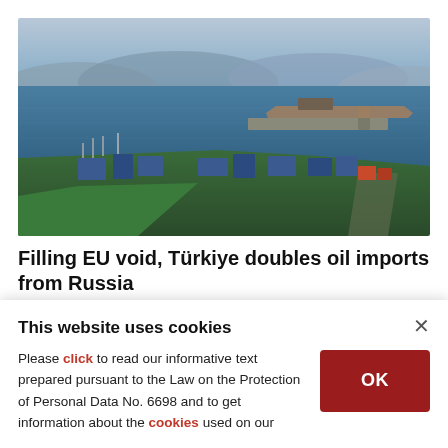[Figure (photo): Aerial photograph of an oil terminal/port facility on a coastline with blue sea, hills in the background, industrial buildings, pipelines, and a cargo ship docked at a pier.]
Filling EU void, Türkiye doubles oil imports from Russia
RUSSIAN-OIL
This website uses cookies
Please click to read our informative text prepared pursuant to the Law on the Protection of Personal Data No. 6698 and to get information about the cookies used on our